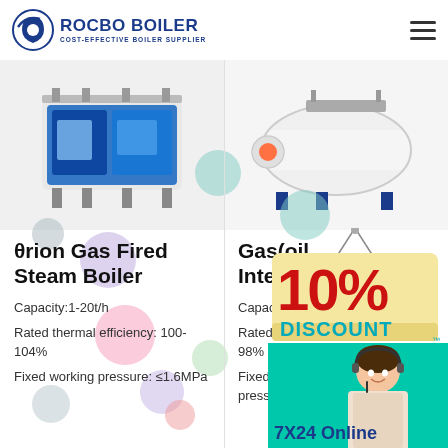[Figure (logo): Rocbo Boiler logo with circular icon and text 'ROCBO BOILER, COST-EFFECTIVE BOILER SUPPLIER']
[Figure (photo): Blue industrial gas fired steam boiler unit on left]
[Figure (photo): White horizontal gas oil integrated boiler on right]
θrion Gas Fired Steam Boiler
Capacity:1-20t/h
Rated thermal efficiency: 100-104%
Fixed working pressure: ≤1.6MPa
Gas(oil Integrated
Capacity:0.7-
Rated the... 98%
Fixed working pressure:≤1.25MPa
[Figure (infographic): 10% DISCOUNT badge/sign in red and teal text on yellow background]
[Figure (photo): Customer service agent woman with headset]
7X24 Online